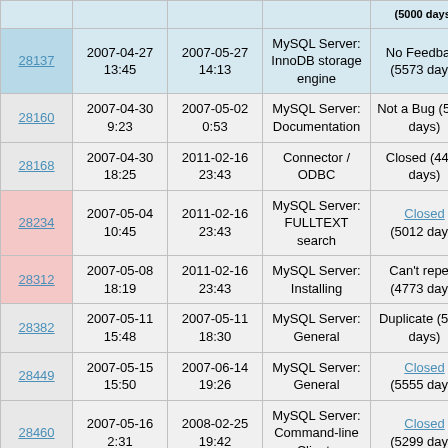| ID | Created | Modified | Category | Status | S |
| --- | --- | --- | --- | --- | --- |
| 28137 | 2007-04-27 13:45 | 2007-05-27 14:13 | MySQL Server: InnoDB storage engine | No Feedback (5573 days) | S3 |
| 28160 | 2007-04-30 9:23 | 2007-05-02 0:53 | MySQL Server: Documentation | Not a Bug (5598 days) | S2 |
| 28168 | 2007-04-30 18:25 | 2011-02-16 23:43 | Connector / ODBC | Closed (4455 days) | S3 |
| 28234 | 2007-05-04 10:45 | 2011-02-16 23:43 | MySQL Server: FULLTEXT search | Closed (5012 days) | S3 |
| 28312 | 2007-05-08 18:19 | 2011-02-16 23:43 | MySQL Server: Installing | Can't repeat (4773 days) | S1 |
| 28382 | 2007-05-11 15:48 | 2007-05-11 18:30 | MySQL Server: General | Duplicate (5589 days) | S3 |
| 28449 | 2007-05-15 15:50 | 2007-06-14 19:26 | MySQL Server: General | Closed (5555 days) | S2 |
| 28460 | 2007-05-16 2:31 | 2008-02-25 19:42 | MySQL Server: Command-line Clients | Closed (5299 days) | S3 |
| 28477 | 2007-05-16 17:05 | 2011-02-16 23:43 | MySQL Server: Partitions | Closed (4799 days) | S1 |